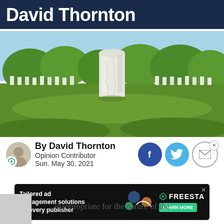David Thornton
[Figure (photo): Cemetery with rows of white grave markers and green grass, one tall white marble headstone in the foreground center, trees in background]
By David Thornton
Opinion Contributor
Sun. May 30, 2021
[Figure (infographic): Ad banner: Tailored ad management solutions for every publisher — FREESTA, LEARN MORE button]
inappropriate for the nature of the